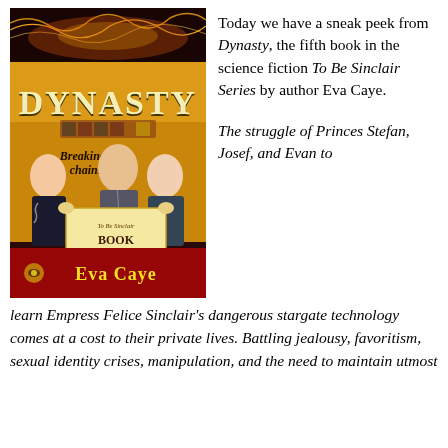[Figure (illustration): Book cover of 'Dynasty' by Eva Caye. Dark background with golden/fiery energy waves at top. Large gold text 'DYNASTY' in the upper portion. Three young men in suits in the center. A decorative scroll in front reads 'To Be Sinclair BOOK FIVE'. Italic text 'Breaking the chains....' overlaid. Deep red and gold banner at bottom with text 'Eva Caye' and a decorative emblem.]
Today we have a sneak peek from Dynasty, the fifth book in the science fiction To Be Sinclair Series by author Eva Caye.
The struggle of Princes Stefan, Josef, and Evan to learn Empress Felice Sinclair's dangerous stargate technology comes at a cost to their private lives. Battling jealousy, favoritism, sexual identity crises, manipulation, and the need to maintain utmost